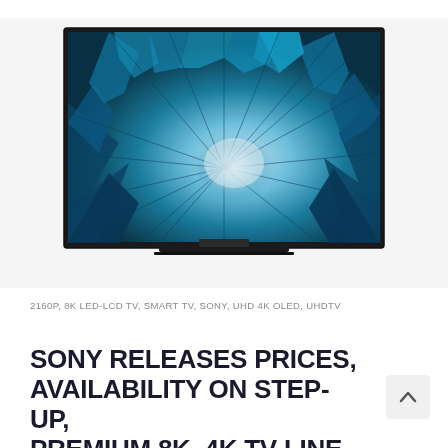[Figure (photo): Sony 8K LED-LCD TV displayed on a white background, showing a vivid ice cave / crystal display on screen, with thin bezels and a stand.]
2160P, 8K LED-LCD TV, SMART TV, SONY, UHD 4K OLED, UHDTV
SONY RELEASES PRICES, AVAILABILITY ON STEP-UP, PREMIUM 8K, 4K TV LINEUP